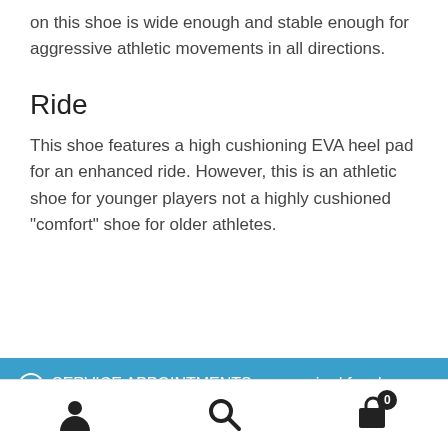on this shoe is wide enough and stable enough for aggressive athletic movements in all directions.
Ride
This shoe features a high cushioning EVA heel pad for an enhanced ride. However, this is an athletic shoe for younger players not a highly cushioned “comfort” shoe for older athletes.
SERVICE APPOINTMENTS are required for shoes, racquet demos, and 1-hour racquet stringing. All other services are available on a walk-in basis. Dismiss